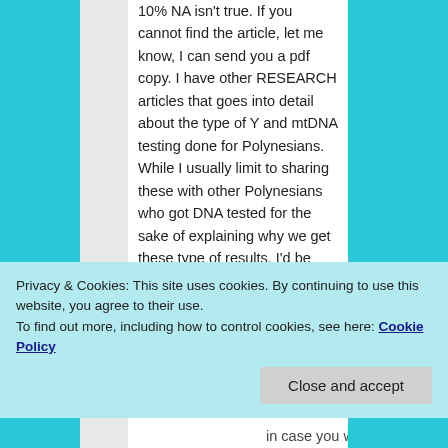10% NA isn't true. If you cannot find the article, let me know, I can send you a pdf copy. I have other RESEARCH articles that goes into detail about the type of Y and mtDNA testing done for Polynesians. While I usually limit to sharing these with other Polynesians who got DNA tested for the sake of explaining why we get these type of results, I'd be
Privacy & Cookies: This site uses cookies. By continuing to use this website, you agree to their use.
To find out more, including how to control cookies, see here: Cookie Policy
in case you weren't aware,